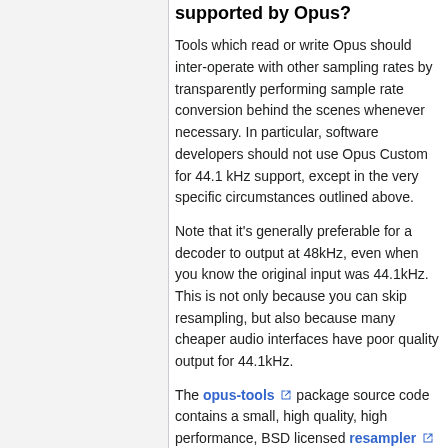supported by Opus?
Tools which read or write Opus should inter-operate with other sampling rates by transparently performing sample rate conversion behind the scenes whenever necessary. In particular, software developers should not use Opus Custom for 44.1 kHz support, except in the very specific circumstances outlined above.
Note that it's generally preferable for a decoder to output at 48kHz, even when you know the original input was 44.1kHz. This is not only because you can skip resampling, but also because many cheaper audio interfaces have poor quality output for 44.1kHz.
The opus-tools package source code contains a small, high quality, high performance, BSD licensed resampler